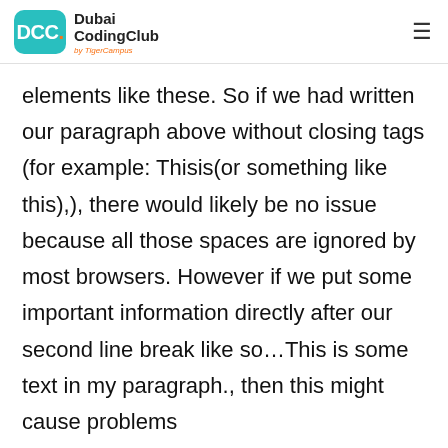DCC. Dubai CodingClub by TigerCampus
elements like these. So if we had written our paragraph above without closing tags (for example: Thisis(or something like this),), there would likely be no issue because all those spaces are ignored by most browsers. However if we put some important information directly after our second line break like so…This is some text in my paragraph., then this might cause problems